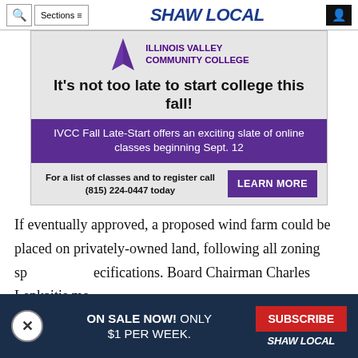Shaw Local – navigation bar with search, sections menu, Shaw Local logo, and user icon
[Figure (infographic): Illinois Valley Community College advertisement: 'It's not too late to start college this fall! IVCC Fall Late-Start offers an exciting slate of online classes beginning Sept. 12. For a list of classes and to register call (815) 224-0447 today. LEARN MORE']
If eventually approved, a proposed wind farm could be placed on privately-owned land, following all zoning specifications. Board Chairman Charles Lenkaitis me...
[Figure (infographic): Subscribe banner: ON SALE NOW! ONLY $1 PER WEEK. SUBSCRIBE SHAW LOCAL. With close (X) button and dark navy background.]